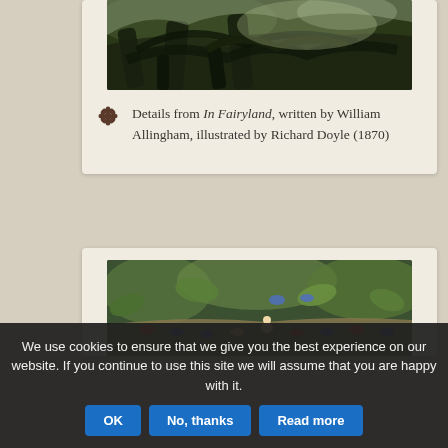[Figure (illustration): Detail from In Fairyland illustration showing dark twisted tree branches against a cloudy sky]
Details from In Fairyland, written by William Allingham, illustrated by Richard Doyle (1870)
[Figure (illustration): Detail from In Fairyland illustration showing fairies and birds among lush vegetation]
We use cookies to ensure that we give you the best experience on our website. If you continue to use this site we will assume that you are happy with it.
OK
No, thanks
Read more